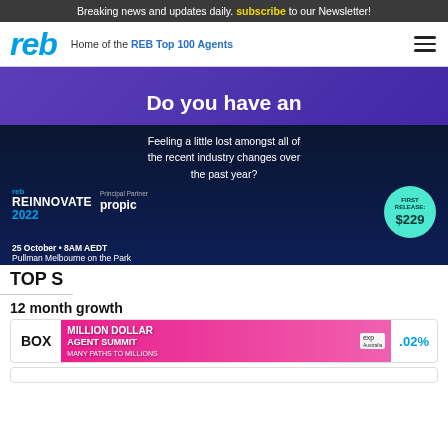Breaking news and updates daily. subscribe to our Newsletter!
[Figure (logo): reb logo - blue italic text]
Home of the REB Top 100 Agents
[Figure (infographic): REB Reinnovate 2022 advertisement. Text: Feeling a little lost amongst all of the recent industry changes over the past year? reb REINNOVATE 2022. Principal Partner: propic. 25 October • 8AM AEDT, Pullman Melbourne on the Park. First Release: $229.]
TOP S
12 month growth
[Figure (infographic): BOX row with Million Dollar Agent Summit advertisement banner showing multiple people. EXP Australia branding. Value showing .02%]